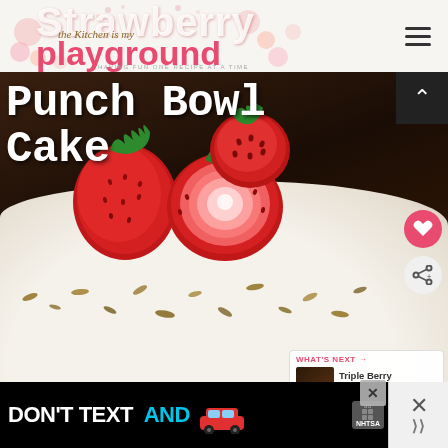Strawberry - the Kitchen is my playground - HAVING FUN ONE RECIPE AT A TIME
Punch Bowl Cake
[Figure (photo): Close-up photo of a Strawberry Punch Bowl Cake with fresh strawberries on top, shredded coconut, and chopped pecans, in a large bowl]
WHAT'S NEXT → Triple Berry Punch Bowl...
[Figure (photo): Thumbnail image of Triple Berry Punch Bowl cake]
[Figure (screenshot): DON'T TEXT AND DRIVE advertisement banner with car emoji and NHTSA logo]